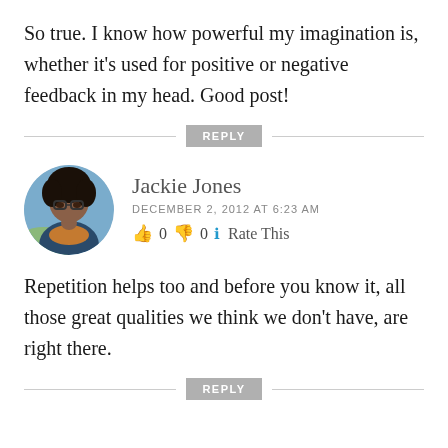So true. I know how powerful my imagination is, whether it’s used for positive or negative feedback in my head. Good post!
Jackie Jones
DECEMBER 2, 2012 AT 6:23 AM
👍 0 👎 0 ℹ Rate This
Repetition helps too and before you know it, all those great qualities we think we don’t have, are right there.